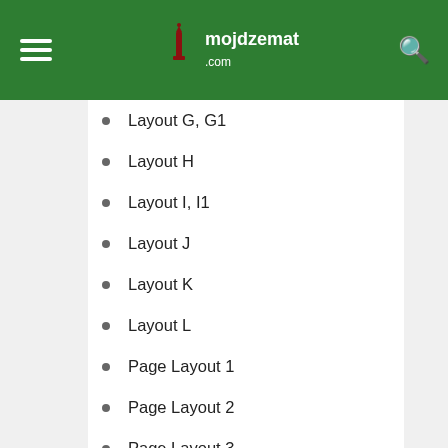mojdzemat.com
Layout G, G1
Layout H
Layout I, I1
Layout J
Layout K
Layout L
Page Layout 1
Page Layout 2
Page Layout 3
Page Layout 4
Page Layout 5
Page Layout 6